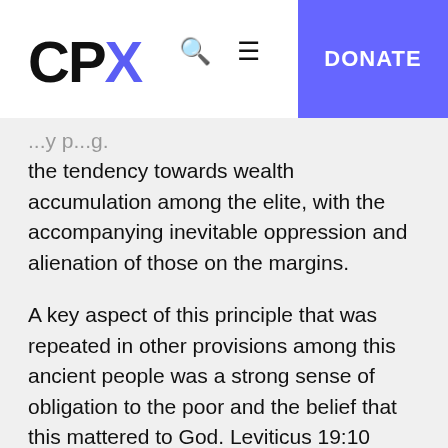CPX — DONATE
the tendency towards wealth accumulation among the elite, with the accompanying inevitable oppression and alienation of those on the margins.
A key aspect of this principle that was repeated in other provisions among this ancient people was a strong sense of obligation to the poor and the belief that this mattered to God. Leviticus 19:10 declares, “Do not go over your vineyard a second time or pick up the grapes that have fallen. Leave them for the poor and the alien. I am